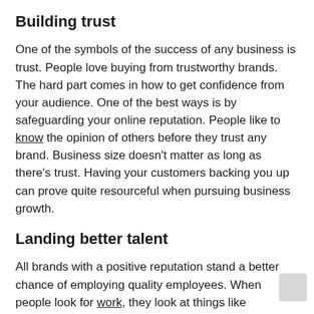Building trust
One of the symbols of the success of any business is trust. People love buying from trustworthy brands. The hard part comes in how to get confidence from your audience. One of the best ways is by safeguarding your online reputation. People like to know the opinion of others before they trust any brand. Business size doesn't matter as long as there's trust. Having your customers backing you up can prove quite resourceful when pursuing business growth.
Landing better talent
All brands with a positive reputation stand a better chance of employing quality employees. When people look for work, they look at things like reputation and how the work environment might favor them. When you are credible, people will want to work for you, and the only thing you ought to do is select the best